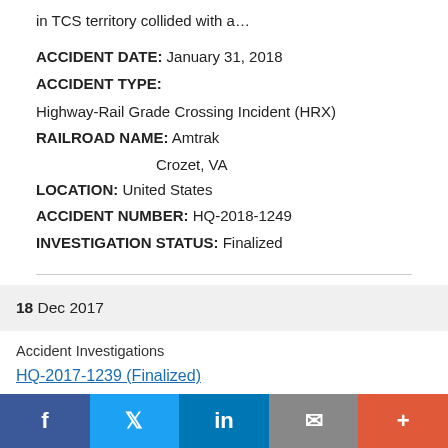in TCS territory collided with a…
ACCIDENT DATE: January 31, 2018
ACCIDENT TYPE:
Highway-Rail Grade Crossing Incident (HRX)
RAILROAD NAME: Amtrak
                    Crozet, VA
LOCATION: United States
ACCIDENT NUMBER: HQ-2018-1249
INVESTIGATION STATUS: Finalized
18 Dec 2017
Accident Investigations
HQ-2017-1239 (Finalized)
f  Twitter  in  Email  +